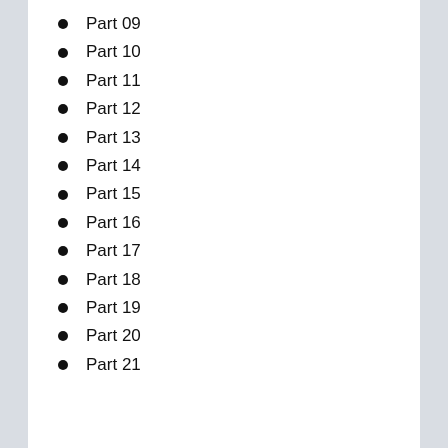Part 09
Part 10
Part 11
Part 12
Part 13
Part 14
Part 15
Part 16
Part 17
Part 18
Part 19
Part 20
Part 21